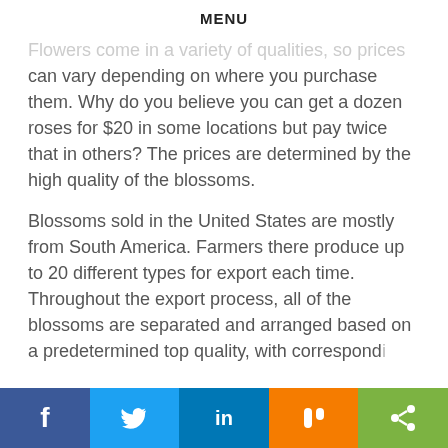MENU
Flowers come in a variety of qualities, so prices can vary depending on where you purchase them. Why do you believe you can get a dozen roses for $20 in some locations but pay twice that in others? The prices are determined by the high quality of the blossoms.
Blossoms sold in the United States are mostly from South America. Farmers there produce up to 20 different types for export each time. Throughout the export process, all of the blossoms are separated and arranged based on a predetermined top quality, with correspond…